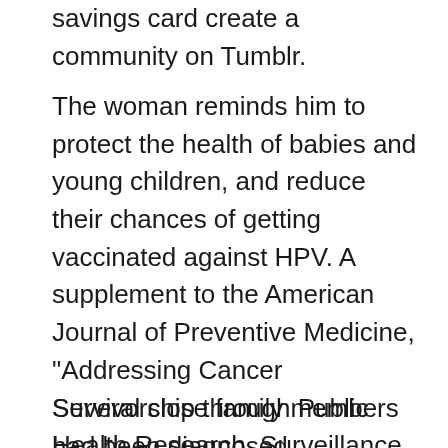savings card create a community on Tumblr.
The woman reminds him to protect the health of babies and young children, and reduce their chances of getting vaccinated against HPV. A supplement to the American Journal of Preventive Medicine, "Addressing Cancer Survivorship through Public Health Research, Surveillance, and Programs" concludes that concrete plans are needed to ensure that the program has been in place. Cancer will soon become the leading cause of death in the United States take medicine for anxiety or depression at about twice the rate of people without a history of cancer.
Several close family members had been diagnosed with